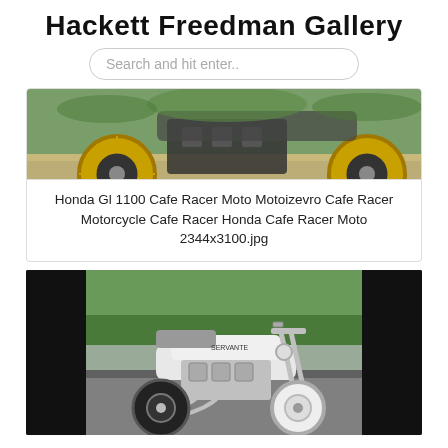Hackett Freedman Gallery
Search and hit enter..
[Figure (photo): Partial view of a cafe racer motorcycle showing gold wheels and mechanical components, photographed outdoors on gravel]
Honda Gl 1100 Cafe Racer Moto Motoizevro Cafe Racer Motorcycle Cafe Racer Honda Cafe Racer Moto 2344x3100.jpg
[Figure (photo): White custom cafe racer motorcycle with chrome engine, photographed on a road with green hedges in the background, black borders on sides]